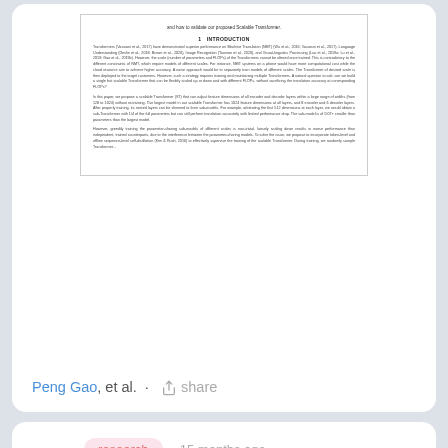[Figure (screenshot): Thumbnail preview of a research paper page showing introduction text about Transformers]
Peng Gao, et al. · share
research · 15 months ago
ViPNAS: Efficient Video Pose Estimation via Neural Architecture Search
Human pose estimation has achieved significant progress in recent years....